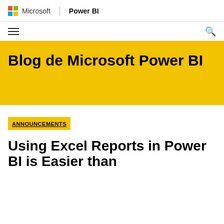Microsoft | Power BI
[Figure (logo): Microsoft colorful four-square logo followed by 'Microsoft | Power BI' header text]
Blog de Microsoft Power BI
ANNOUNCEMENTS
Using Excel Reports in Power BI is Easier than